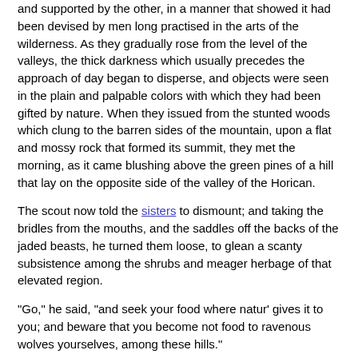and supported by the other, in a manner that showed it had been devised by men long practised in the arts of the wilderness. As they gradually rose from the level of the valleys, the thick darkness which usually precedes the approach of day began to disperse, and objects were seen in the plain and palpable colors with which they had been gifted by nature. When they issued from the stunted woods which clung to the barren sides of the mountain, upon a flat and mossy rock that formed its summit, they met the morning, as it came blushing above the green pines of a hill that lay on the opposite side of the valley of the Horican.
The scout now told the sisters to dismount; and taking the bridles from the mouths, and the saddles off the backs of the jaded beasts, he turned them loose, to glean a scanty subsistence among the shrubs and meager herbage of that elevated region.
"Go," he said, "and seek your food where natur' gives it to you; and beware that you become not food to ravenous wolves yourselves, among these hills."
"Have we no further need of them?" demanded Heyward.
"See, and judge with your own eyes," said the scout, advancing toward